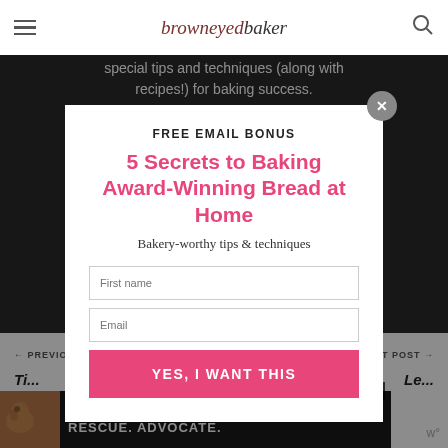browneyed baker
special tips and techniques (along with recipes!) for baking success.
[Figure (screenshot): Modal popup overlay on browneyed baker website with email signup form]
FREE EMAIL BONUS
5 Secrets to Baking Award-Winning Bread at Home
Bakery-worthy tips & techniques
PREVIOUS POST
NEXT POST
[Figure (photo): Foster Adopt Rescue Advocate advertisement banner with dog photo]